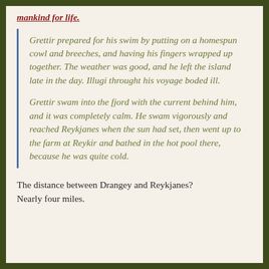mankind for life.
Grettir prepared for his swim by putting on a homespun cowl and breeches, and having his fingers wrapped up together. The weather was good, and he left the island late in the day. Illugi throught his voyage boded ill.
Grettir swam into the fjord with the current behind him, and it was completely calm. He swam vigorously and reached Reykjanes when the sun had set, then went up to the farm at Reykir and bathed in the hot pool there, because he was quite cold.
The distance between Drangey and Reykjanes? Nearly four miles.